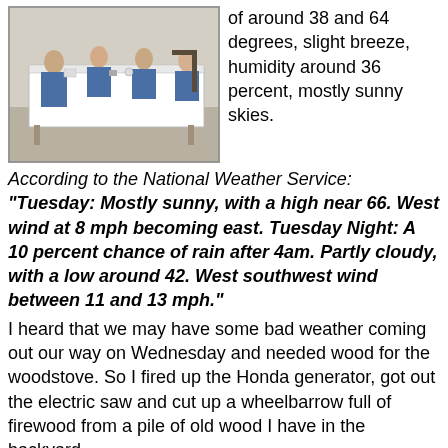[Figure (photo): People seated around a table with white tablecloth in a community hall setting]
of around 38 and 64 degrees, slight breeze, humidity around 36 percent, mostly sunny skies.
According to the National Weather Service: “Tuesday: Mostly sunny, with a high near 66. West wind at 8 mph becoming east. Tuesday Night: A 10 percent chance of rain after 4am. Partly cloudy, with a low around 42. West southwest wind between 11 and 13 mph.”
I heard that we may have some bad weather coming out our way on Wednesday and needed wood for the woodstove. So I fired up the Honda generator, got out the electric saw and cut up a wheelbarrow full of firewood from a pile of old wood I have in the backyard.
I did a few things needing done around the house and then went on my evening walk re-listening to the Astronomy Cast lecture: Ep. 152: Binary Stars. When I got back I practiced my guitar.
I went over to Stoney's to see how he's doing and also to collect my bag of groceries from the USDA Food Distribution that was held this morning.